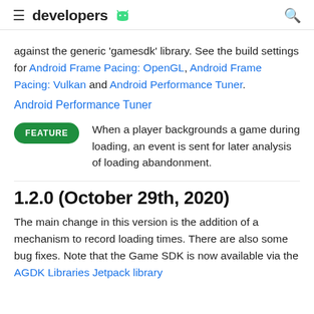developers [android logo]
against the generic 'gamesdk' library. See the build settings for Android Frame Pacing: OpenGL, Android Frame Pacing: Vulkan and Android Performance Tuner.
Android Performance Tuner
FEATURE — When a player backgrounds a game during loading, an event is sent for later analysis of loading abandonment.
1.2.0 (October 29th, 2020)
The main change in this version is the addition of a mechanism to record loading times. There are also some bug fixes. Note that the Game SDK is now available via the AGDK Libraries Jetpack library.